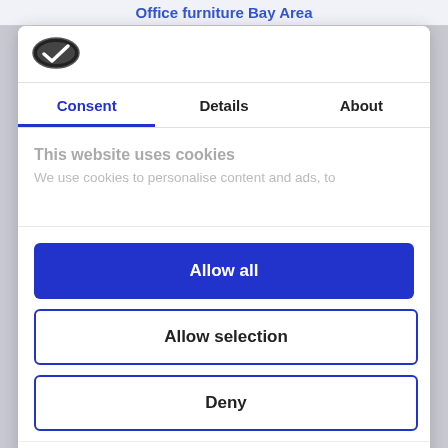Office furniture Bay Area
[Figure (logo): Cookiebot logo - dark oval with white checkmark]
Consent | Details | About
This website uses cookies
We use cookies to personalise content and ads, to
Allow all
Allow selection
Deny
Powered by Cookiebot by Usercentrics